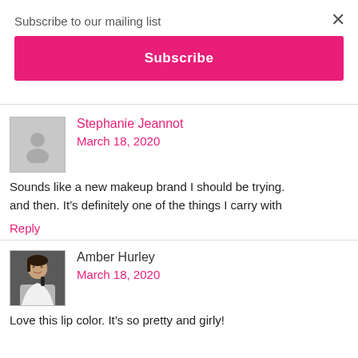Subscribe to our mailing list
×
Subscribe
Stephanie Jeannot
March 18, 2020
Sounds like a new makeup brand I should be trying. and then. It's definitely one of the things I carry with
Reply
Amber Hurley
March 18, 2020
Love this lip color. It's so pretty and girly!